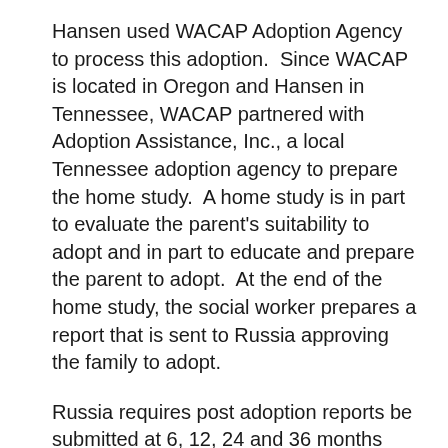Hansen used WACAP Adoption Agency to process this adoption.  Since WACAP is located in Oregon and Hansen in Tennessee, WACAP partnered with Adoption Assistance, Inc., a local Tennessee adoption agency to prepare the home study.  A home study is in part to evaluate the parent's suitability to adopt and in part to educate and prepare the parent to adopt.  At the end of the home study, the social worker prepares a report that is sent to Russia approving the family to adopt.
Russia requires post adoption reports be submitted at 6, 12, 24 and 36 months after placement.  In preparation for the submittal of the first post adoption report a social worker from Adoption Assistance visited Hansen and Artyom, whom she had named Justin, in January of this year, four months after he arrived home.  The social worker